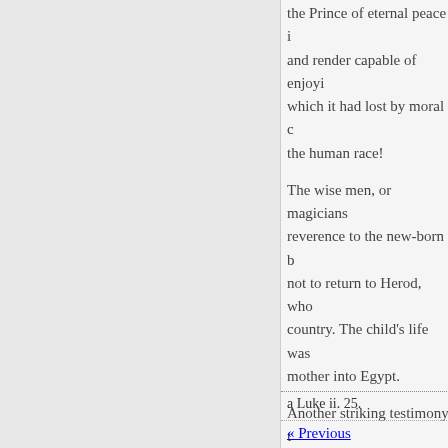the Prince of eternal peace i and render capable of enjoyi which it had lost by moral c the human race!
The wise men, or magicians reverence to the new-born b not to return to Herod, who country. The child's life was mother into Egypt.
Another striking testimony t just and devout, who waited To Simeon "it had been reve seen the Lord's Christ. Wher of Moses, were accomplishe presented in the temple, he t lettest thou thy servant depa
a Luke ii. 25.
« Previous